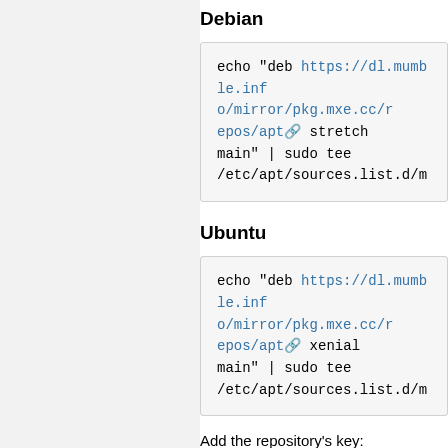Debian
echo "deb https://dl.mumble.info/mirror/pkg.mxe.cc/repos/apt stretch main" | sudo tee /etc/apt/sources.list.d/m
Ubuntu
echo "deb https://dl.mumble.info/mirror/pkg.mxe.cc/repos/apt xenial main" | sudo tee /etc/apt/sources.list.d/m
Add the repository's key:
sudo apt-key adv --